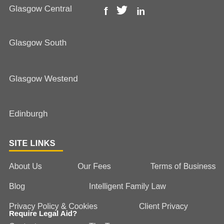Glasgow Central
[Figure (infographic): Social media icons: Facebook (f), Twitter (bird), LinkedIn (in)]
Glasgow South
Glasgow Westend
Edinburgh
SITE LINKS
About Us
Our Fees
Terms of Business
Blog
Intelligent Family Law
Privacy Policy & Cookies
Client Privacy
Contact
The Team
Require Legal Aid?